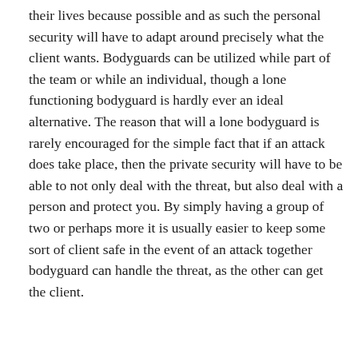their lives because possible and as such the personal security will have to adapt around precisely what the client wants. Bodyguards can be utilized while part of the team or while an individual, though a lone functioning bodyguard is hardly ever an ideal alternative. The reason that will a lone bodyguard is rarely encouraged for the simple fact that if an attack does take place, then the private security will have to be able to not only deal with the threat, but also deal with a person and protect you. By simply having a group of two or perhaps more it is usually easier to keep some sort of client safe in the event of an attack together bodyguard can handle the threat, as the other can get the client.